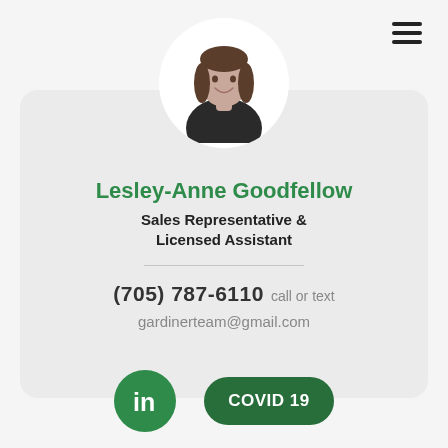[Figure (photo): Circular profile photo of Lesley-Anne Goodfellow, a woman with dark hair, smiling, in black and white]
Lesley-Anne Goodfellow
Sales Representative & Licensed Assistant
(705) 787-6110 call or text
gardinerteam@gmail.com
[Figure (logo): LinkedIn circular button (green with 'in' icon)]
COVID 19